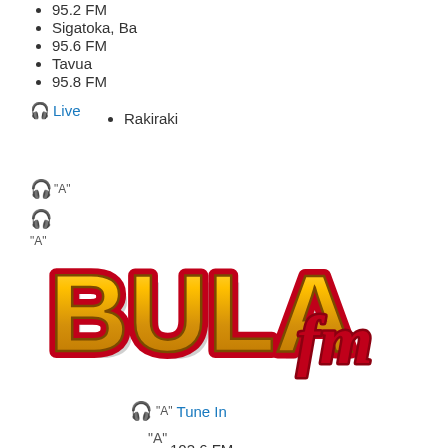95.2 FM
Sigatoka, Ba
95.6 FM
Tavua
95.8 FM
Rakiraki
🎧 Live   • Rakiraki
[Figure (logo): Bula FM radio station logo with large gold/yellow bold letters 'BULA' and red script 'fm' text with red border outline on white background]
"A" Tune In
"A"
102.6 FM
Suva, Nadi, Lautoka, Labasa
102.4 FM
Sigatoka, Ba
102.8 FM